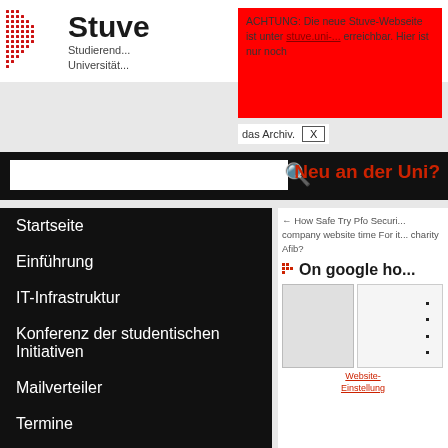[Figure (logo): Stuve logo with red dot grid pattern and text 'Stuve Studierenden Universität']
ACHTUNG: Die neue Stuve-Webseite ist unter [link] erreichbar. Hier ist nur noch das Archiv. X
[Figure (screenshot): Search bar with magnifying glass icon and 'Neu an der Uni?' navigation link]
Startseite
Einführung
IT-Infrastruktur
Konferenz der studentischen Initiativen
Mailverteiler
Termine
Studierendenvertretung
Referate & Arbeitskreise
← How Safe Try Pfo Securi... company website time For it... charity Afib?
On google ho...
[Figure (screenshot): Two image thumbnails with Website-Einstellung caption and bullet list]
Website-Einstellung